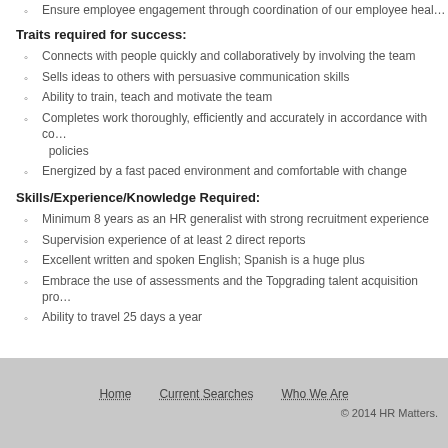Ensure employee engagement through coordination of our employee heal…
Traits required for success:
Connects with people quickly and collaboratively by involving the team
Sells ideas to others with persuasive communication skills
Ability to train, teach and motivate the team
Completes work thoroughly, efficiently and accurately in accordance with co… policies
Energized by a fast paced environment and comfortable with change
Skills/Experience/Knowledge Required:
Minimum 8 years as an HR generalist with strong recruitment experience
Supervision experience of at least 2 direct reports
Excellent written and spoken English; Spanish is a huge plus
Embrace the use of assessments and the Topgrading talent acquisition pro…
Ability to travel 25 days a year
Home   Current Searches   Who We Are   © 2014 HR Matters.